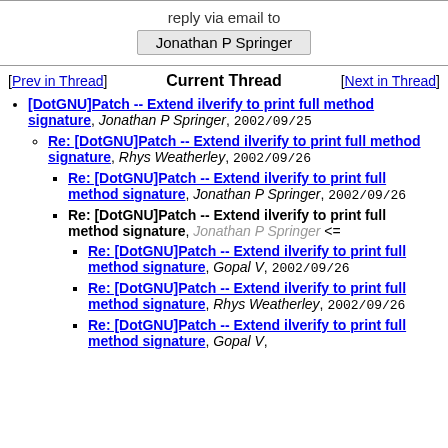reply via email to
Jonathan P Springer
[Prev in Thread]    Current Thread    [Next in Thread]
[DotGNU]Patch -- Extend ilverify to print full method signature, Jonathan P Springer, 2002/09/25
Re: [DotGNU]Patch -- Extend ilverify to print full method signature, Rhys Weatherley, 2002/09/26
Re: [DotGNU]Patch -- Extend ilverify to print full method signature, Jonathan P Springer, 2002/09/26
Re: [DotGNU]Patch -- Extend ilverify to print full method signature, Jonathan P Springer <=
Re: [DotGNU]Patch -- Extend ilverify to print full method signature, Gopal V, 2002/09/26
Re: [DotGNU]Patch -- Extend ilverify to print full method signature, Rhys Weatherley, 2002/09/26
Re: [DotGNU]Patch -- Extend ilverify to print full method signature, Gopal V,